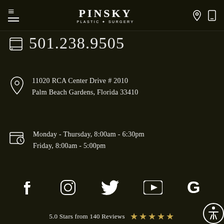PINSKY PLASTIC SURGERY
501.238.9505
11020 RCA Center Drive # 2010
Palm Beach Gardens, Florida 33410
Monday - Thursday, 8:00am - 6:30pm
Friday, 8:00am - 5:00pm
[Figure (other): Social media icons: Facebook, Instagram, Twitter, YouTube, Google]
5.0 Stars from 140 Reviews ★★★★★
Home   Our Providers   Our Practice